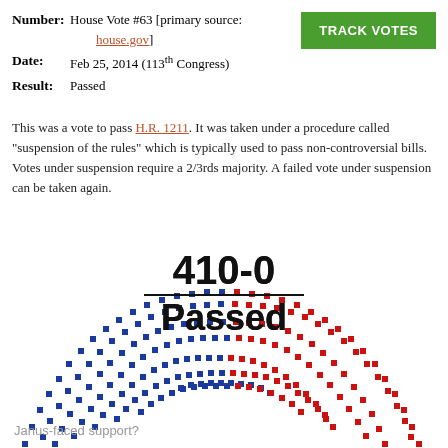Number: House Vote #63 [primary source: house.gov]
Date: Feb 25, 2014 (113th Congress)
Result: Passed
This was a vote to pass H.R. 1211. It was taken under a procedure called "suspension of the rules" which is typically used to pass non-controversial bills. Votes under suspension require a 2/3rds majority. A failed vote under suspension can be taken again.
[Figure (other): Semicircular House chamber seating diagram showing 410 blue dots (Yea votes) and 0 red dots (Nay), with '410-0' and 'Passed' in the center]
Janus-faced support?